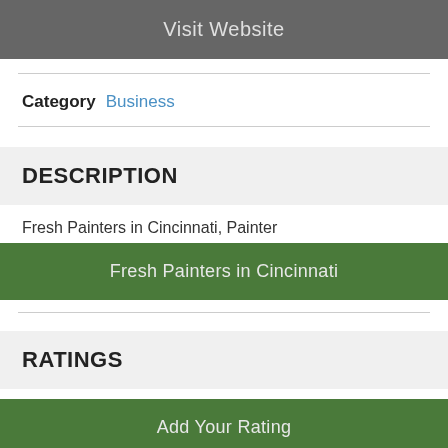Visit Website
Category  Business
DESCRIPTION
Fresh Painters in Cincinnati, Painter
Fresh Painters in Cincinnati
RATINGS
Add Your Rating